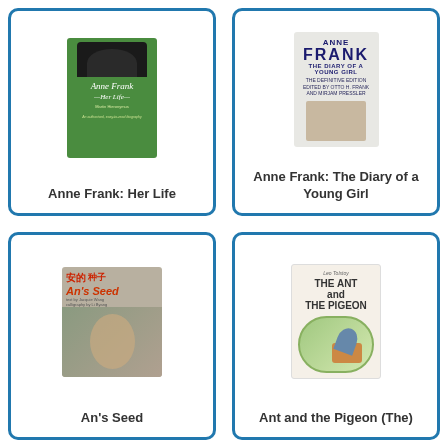[Figure (illustration): Book cover of 'Anne Frank: Her Life' - green background with bird silhouette]
Anne Frank: Her Life
[Figure (illustration): Book cover of 'Anne Frank: The Diary of a Young Girl' - light background with bold text and photo]
Anne Frank: The Diary of a Young Girl
[Figure (illustration): Book cover of 'An's Seed' with Chinese characters and illustration of child in snow]
An's Seed
[Figure (illustration): Book cover of 'The Ant and the Pigeon' by Leo Tolstoy with illustrated border]
Ant and the Pigeon (The)